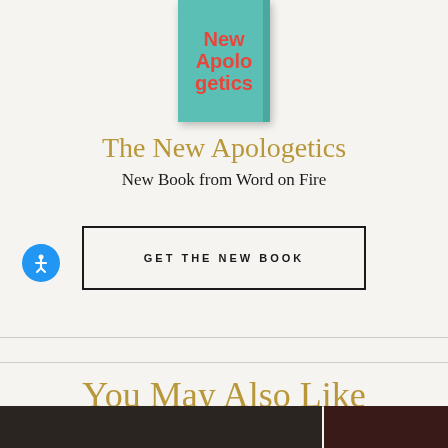[Figure (illustration): Book cover of 'New Apologetics' with teal/green background and red bold text reading 'New Apologetics', with a dark spine on the right side]
The New Apologetics
New Book from Word on Fire
GET THE NEW BOOK
You May Also Like
[Figure (photo): Two partial images at the bottom of the page - left showing a dark background with a golden figure, right showing a dark reddish background]